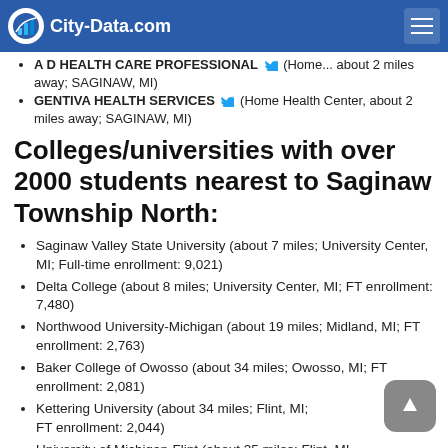City-Data.com
A D HEALTH CARE PROFESSIONAL (Home... about 2 miles away; SAGINAW, MI)
GENTIVA HEALTH SERVICES (Home Health Center, about 2 miles away; SAGINAW, MI)
Colleges/universities with over 2000 students nearest to Saginaw Township North:
Saginaw Valley State University (about 7 miles; University Center, MI; Full-time enrollment: 9,021)
Delta College (about 8 miles; University Center, MI; FT enrollment: 7,480)
Northwood University-Michigan (about 19 miles; Midland, MI; FT enrollment: 2,763)
Baker College of Owosso (about 34 miles; Owosso, MI; FT enrollment: 2,081)
Kettering University (about 34 miles; Flint, MI; FT enrollment: 2,044)
University of Michigan-Flint (about 35 miles; Flint, MI...